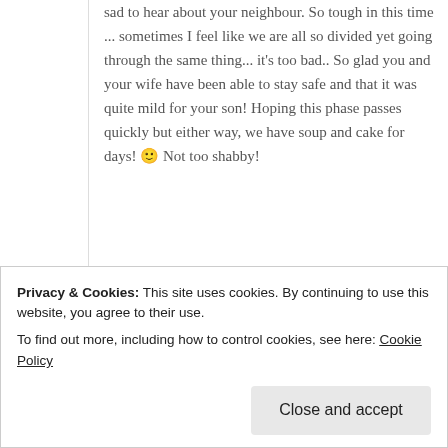sad to hear about your neighbour. So tough in this time ... sometimes I feel like we are all so divided yet going through the same thing... it's too bad.. So glad you and your wife have been able to stay safe and that it was quite mild for your son! Hoping this phase passes quickly but either way, we have soup and cake for days! 🙂 Not too shabby!
★ Liked by 1 person
Reply
Privacy & Cookies: This site uses cookies. By continuing to use this website, you agree to their use.
To find out more, including how to control cookies, see here: Cookie Policy
Close and accept